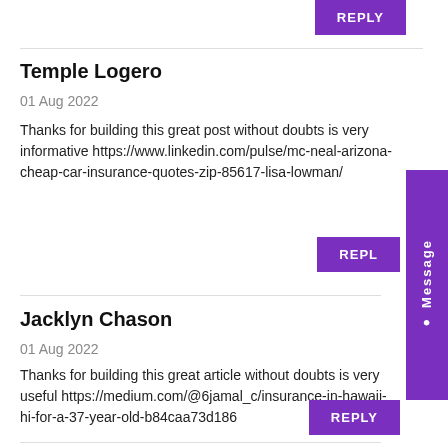REPLY
Temple Logero
01 Aug 2022
Thanks for building this great post without doubts is very informative https://www.linkedin.com/pulse/mc-neal-arizona-cheap-car-insurance-quotes-zip-85617-lisa-lowman/
REPLY
Jacklyn Chason
01 Aug 2022
Thanks for building this great article without doubts is very useful https://medium.com/@6jamal_c/insurance-in-hawaii-hi-for-a-37-year-old-b84caa73d186
REPLY